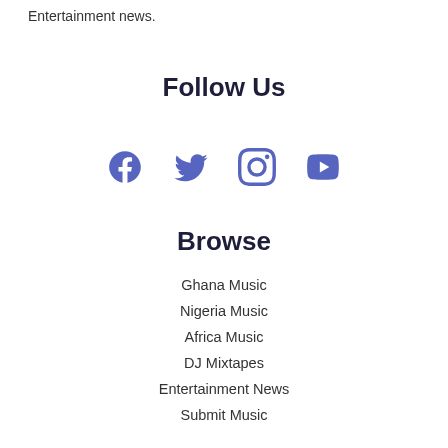Entertainment news.
Follow Us
[Figure (infographic): Social media icons: Facebook, Twitter, Instagram, YouTube in blue/purple color]
Browse
Ghana Music
Nigeria Music
Africa Music
DJ Mixtapes
Entertainment News
Submit Music